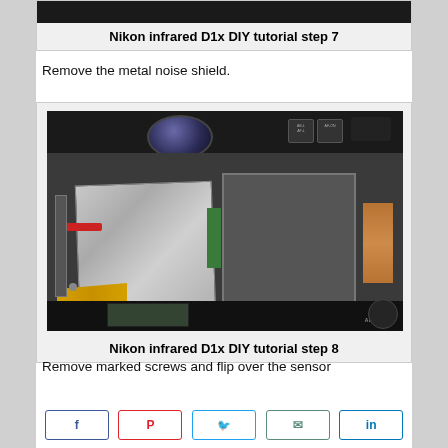[Figure (photo): Nikon D1x camera interior, partially visible at top of page. Dark camera body components shown.]
Nikon infrared D1x DIY tutorial step 7
Remove the metal noise shield.
[Figure (photo): Close-up photo of Nikon D1x camera opened showing internal components: metal noise shield being removed, copper heat sink, ribbon cables, PCB, and inner frame.]
Nikon infrared D1x DIY tutorial step 8
Remove marked screws and flip over the sensor